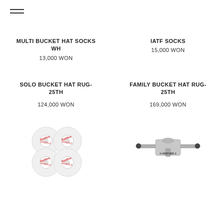[Figure (other): Hamburger menu icon (three horizontal lines)]
MULTI BUCKET HAT SOCKS WH
13,000 WON
IATF SOCKS
15,000 WON
SOLO BUCKET HAT RUG-25TH
124,000 WON
FAMILY BUCKET HAT RUG-25TH
169,000 WON
[Figure (photo): Four skateboard wheels with red Spitfire logo on white urethane]
[Figure (photo): Silver skateboard truck (Venture or similar brand)]